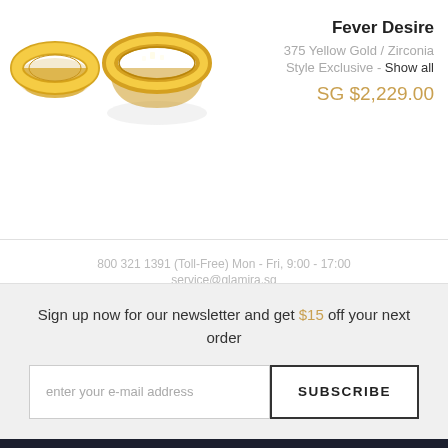[Figure (photo): Two yellow gold ring product images side by side]
Fever Desire
375 Yellow Gold / Zirconia
Style Exclusive - Show all
SG $2,229.00
800 321 1391 (Toll-Free) Mon - Fri, 9:00 - 17:00
service@glamira.sg
Sign up now for our newsletter and get $15 off your next order
enter your e-mail address
SUBSCRIBE
HELP & FAQ
OUR POLICIES & LEGAL
OUR SERVICES